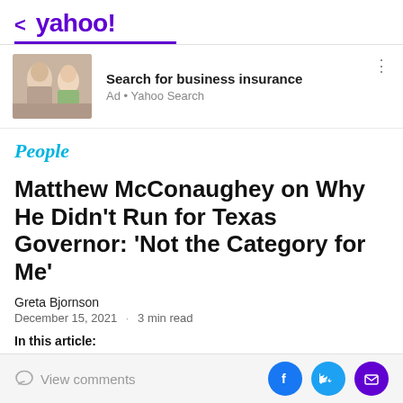< yahoo!
[Figure (screenshot): Yahoo ad block with thumbnail image of elderly man and young woman, text: Search for business insurance, Ad • Yahoo Search]
People
Matthew McConaughey on Why He Didn't Run for Texas Governor: 'Not the Category for Me'
Greta Bjornson
December 15, 2021 · 3 min read
In this article:
View comments